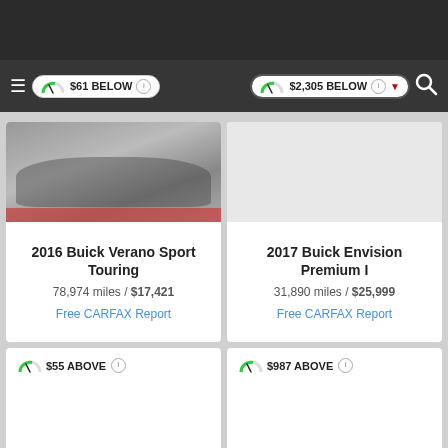[Figure (screenshot): Dark top navigation bar of a car listing app]
$61 BELOW
$2,305 BELOW
[Figure (photo): 2016 Buick Verano Sport Touring car photo]
2016 Buick Verano Sport Touring
78,974 miles / $17,421
Free CARFAX Report
2017 Buick Envision Premium I
31,890 miles / $25,999
Free CARFAX Report
$55 ABOVE
$987 ABOVE